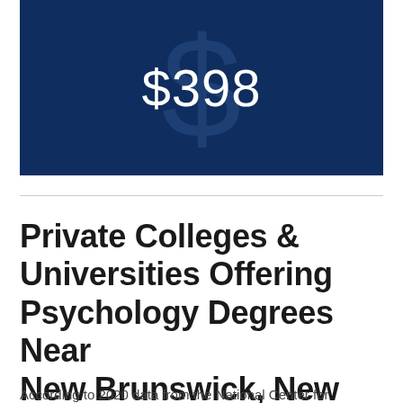[Figure (infographic): Dark navy blue banner with a large decorative dollar sign watermark in background and '$398' displayed prominently in white text in the center]
Private Colleges & Universities Offering Psychology Degrees Near New Brunswick, New Jersey
According to 2020 data from the National Center for